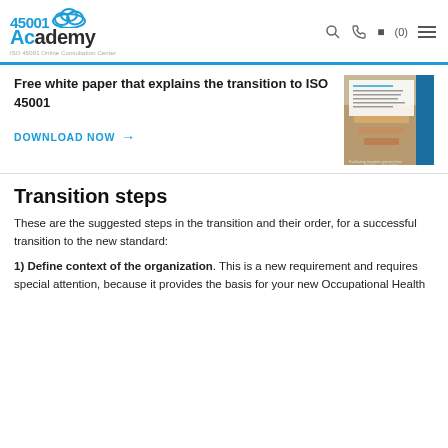45001 Academy - ISO 45001 Online Consultation Center
Free white paper that explains the transition to ISO 45001
DOWNLOAD NOW →
[Figure (photo): Photo of hands stacking wooden blocks/Jenga pieces with a white paper document overlay, related to ISO 45001 transition process.]
Transition steps
These are the suggested steps in the transition and their order, for a successful transition to the new standard:
1) Define context of the organization. This is a new requirement and requires special attention, because it provides the basis for your new Occupational Health